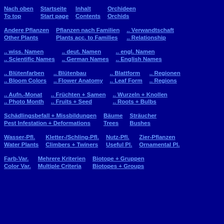Nach oben / To top | Startseite / Start page | Inhalt / Contents | Orchideen / Orchids
Andere Pflanzen / Other Plants | Pflanzen nach Familien / Plants acc. to Families | .. Verwandtschaft / .. Relationship
.. wiss. Namen / .. Scientific Names | .. deut. Namen / .. German Names | .. engl. Namen / .. English Names
.. Blütenfarben / .. Bloom Colors | .. Blütenbau / .. Flower Anatomy | .. Blattform / .. Leaf Form | .. Regionen / .. Regions
.. Aufn.-Monat / .. Photo Month | .. Früchten + Samen / .. Fruits + Seed | .. Wurzeln + Knollen / .. Roots + Bulbs
Schädlingsbefall + Missbildungen / Pest Infestation + Deformations | Bäume / Trees | Sträucher / Bushes
Wasser-Pfl. / Water Plants | Kletter-/Schling-Pfl. / Climbers + Twiners | Nutz-Pfl. / Useful Pl. | Zier-Pflanzen / Ornamental Pl.
Farb-Var. / Color Var. | Mehrere Kriterien / Multiple Criteria | Biotope + Gruppen / Biotopes + Groups